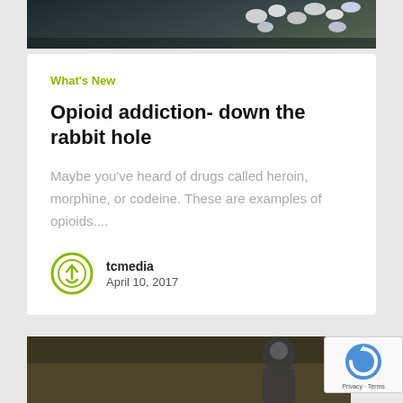[Figure (photo): Top image showing pills/tablets scattered on a dark surface]
What's New
Opioid addiction- down the rabbit hole
Maybe you've heard of drugs called heroin, morphine, or codeine. These are examples of opioids....
tcmedia
April 10, 2017
[Figure (photo): Bottom image showing a person in hooded jacket in a forest setting]
[Figure (other): reCAPTCHA badge with Privacy and Terms links]